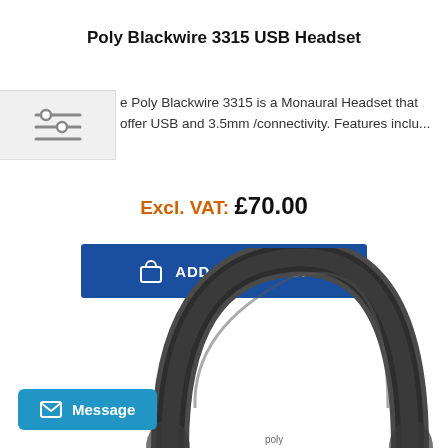Poly Blackwire 3315 USB Headset
[Figure (illustration): Filter/sliders icon in a light grey square box]
The Poly Blackwire 3315 is a Monaural Headset that offer USB and 3.5mm /connectivity. Features inclu...
Excl. VAT: £70.00
ADD TO BASKET
[Figure (photo): Partial photo of a Poly Blackwire 3315 headset showing the headband arc in dark grey/black]
Message